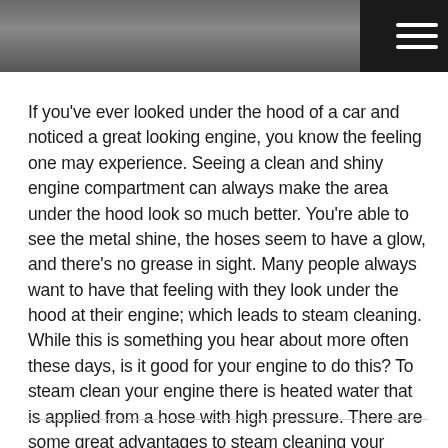[Figure (photo): Dark photo of a car engine seen from above, partially cropped at the top of the page]
If you've ever looked under the hood of a car and noticed a great looking engine, you know the feeling one may experience. Seeing a clean and shiny engine compartment can always make the area under the hood look so much better. You're able to see the metal shine, the hoses seem to have a glow, and there's no grease in sight. Many people always want to have that feeling with they look under the hood at their engine; which leads to steam cleaning. While this is something you hear about more often these days, is it good for your engine to do this? To steam clean your engine there is heated water that is applied from a hose with high pressure. There are some great advantages to steam cleaning your engine. The look you'll end up with is great, but there's more. This includes: Spotting Potential Trouble: Steam cleaning your engine will help to see any potential issues that may be major. If your engine isn't cleaned you wouldn't know if somethin ... read more